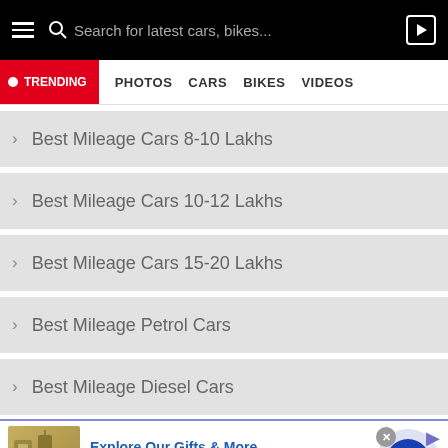Search for latest cars, bikes...
TRENDING  PHOTOS  CARS  BIKES  VIDEOS
Best Mileage Cars 8-10 Lakhs
Best Mileage Cars 10-12 Lakhs
Best Mileage Cars 15-20 Lakhs
Best Mileage Petrol Cars
Best Mileage Diesel Cars
[Figure (infographic): Advertisement banner for 1800flowers.com - Explore Our Gifts & More. Personalized Gifts - Spa Baskets - Get Sets. www.1800flowers.com. Shows gift products image and navigation arrow button.]